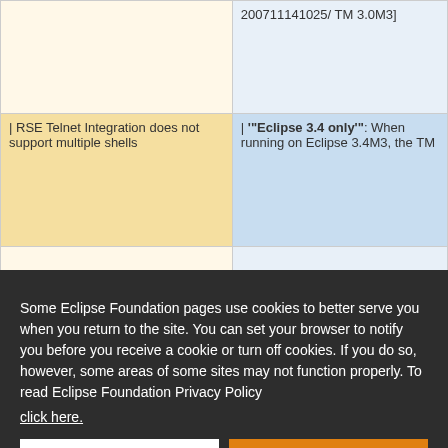| Description | Details |
| --- | --- |
|  | 200711141025/ TM 3.0M3] |
| | RSE Telnet Integration does not support multiple shells | | '"Eclipse 3.4 only"': When running on Eclipse 3.4M3, the TM |
|  |  |
|  | 200711131300/ TM 2.0.2] |
Some Eclipse Foundation pages use cookies to better serve you when you return to the site. You can set your browser to notify you before you receive a cookie or turn off cookies. If you do so, however, some areas of some sites may not function properly. To read Eclipse Foundation Privacy Policy
click here.
Decline
Allow cookies